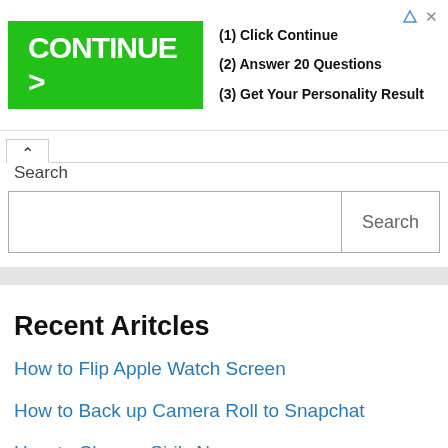[Figure (screenshot): Advertisement banner with green CONTINUE > button and text: (1) Click Continue, (2) Answer 20 Questions, (3) Get Your Personality Result]
Search
Recent Aritcles
How to Flip Apple Watch Screen
How to Back up Camera Roll to Snapchat
How to Change Siri’s Name
How to Make an Instant Transfer with